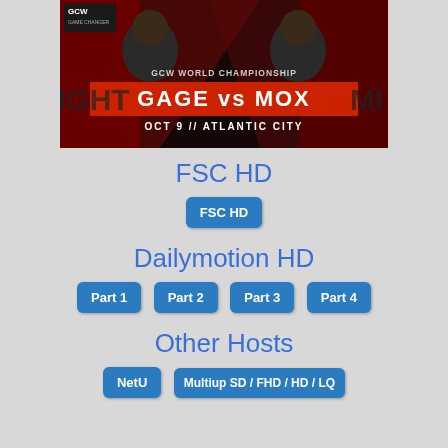[Figure (illustration): GCW World Championship poster showing Gage vs Mox, Oct 9 Atlantic City, with two wrestlers on red background]
FSC HD
FSC HD (button)
Dailymotion HD
Part 1, Part 2, Part 3, Part 4 (buttons)
Other Hosts
NetU, Multiup SD / FHD / HD / LQ (buttons)